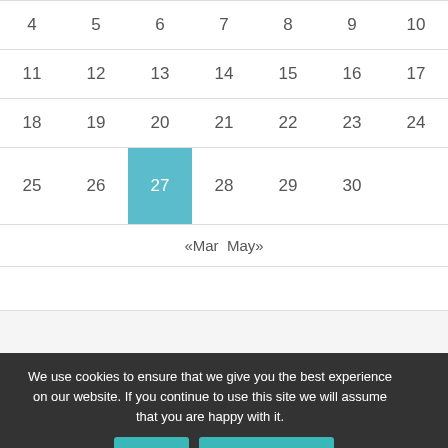[Figure (screenshot): Calendar grid showing April dates: row with 4-10, row with 11-17, row with 18-24, row with 25-30 with 27 highlighted in teal, navigation «Mar May», followed by a partial screenshot strip]
We use cookies to ensure that we give you the best experience on our website. If you continue to use this site we will assume that you are happy with it.
Ok
Privacy policy